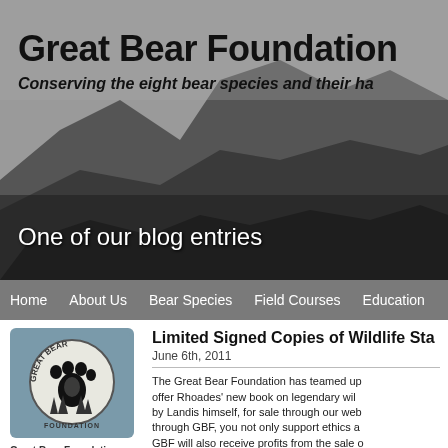[Figure (screenshot): Great Bear Foundation website header banner with mountain landscape background in grayscale]
Great Bear Foundation
Conserving the eight bear species and their ha
One of our blog entries
Home   About Us   Bear Species   Field Courses   Education
[Figure (logo): Great Bear Foundation circular logo with bear paw print and trees on teal/gray background]
Great Bear Foundation is a 501(c)(3) non-profit organization in Missoula, Montana, dedicated to the conservation of the eight
Limited Signed Copies of Wildlife Sta
June 6th, 2011
The Great Bear Foundation has teamed up to offer Rhoades' new book on legendary wil by Landis himself, for sale through our web through GBF, you not only support ethics a GBF will also receive profits from the sale o Ethics and Accuracy in Wildlife Media tab o the book.